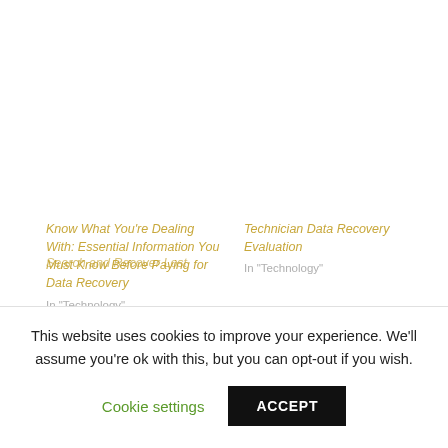Know What You're Dealing With: Essential Information You Must Know Before Paying for Data Recovery
In "Technology"
Technician Data Recovery Evaluation
In "Technology"
Search and Recover Lost
This website uses cookies to improve your experience. We'll assume you're ok with this, but you can opt-out if you wish.
Cookie settings
ACCEPT